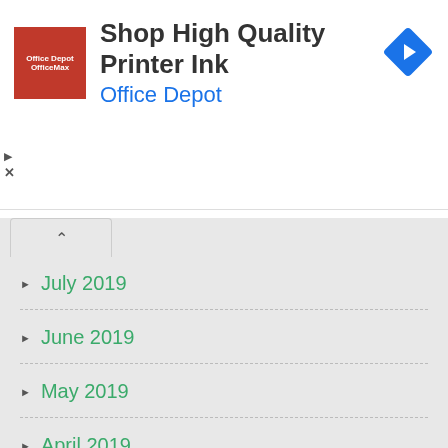[Figure (other): Office Depot / OfficeMax advertisement banner with red square logo, headline 'Shop High Quality Printer Ink', subline 'Office Depot', and a blue navigation arrow icon on the right.]
July 2019
June 2019
May 2019
April 2019
March 2019
February 2019